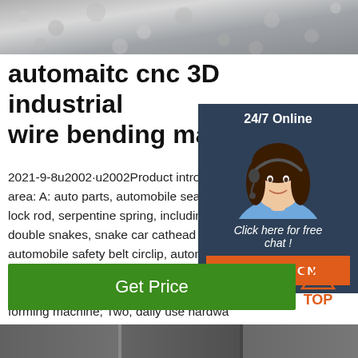[Figure (photo): Close-up photo of metal wire or screws/fasteners, grey metallic texture filling top banner]
automaitc cnc 3D industrial wire bending machine .
2021-9-8u2002·u2002Product introduction area: A: auto parts, automobile seat frame, lock rod, serpentine spring, including single double snakes, snake car cathead circlip, automobile safety belt circlip, automobile support wire, motorcycle parts, bicycle parts bicycle are more suitable for production forming machine; Two, daily use hardware products: kitchen display rack, stacks, ...
[Figure (infographic): Chat overlay widget: dark blue background with '24/7 Online' text, photo of female customer service representative wearing headset, 'Click here for free chat!' italic text, orange QUOTATION button]
Get Price
[Figure (infographic): Orange TOP button icon with triangle/arrow pointing up and dots, 'TOP' text below in orange]
[Figure (photo): Bottom partial photo strip showing machinery or equipment]